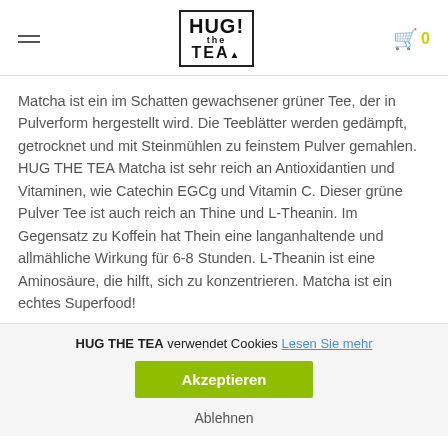HUG the TEA logo and navigation
Matcha ist ein im Schatten gewachsener grüner Tee, der in Pulverform hergestellt wird. Die Teeblätter werden gedämpft, getrocknet und mit Steinmühlen zu feinstem Pulver gemahlen. HUG THE TEA Matcha ist sehr reich an Antioxidantien und Vitaminen, wie Catechin EGCg und Vitamin C. Dieser grüne Pulver Tee ist auch reich an Thine und L-Theanin. Im Gegensatz zu Koffein hat Thein eine langanhaltende und allmähliche Wirkung für 6-8 Stunden. L-Theanin ist eine Aminosäure, die hilft, sich zu konzentrieren. Matcha ist ein echtes Superfood!
HUG THE TEA verwendet Cookies Lesen Sie mehr
Akzeptieren
Ablehnen